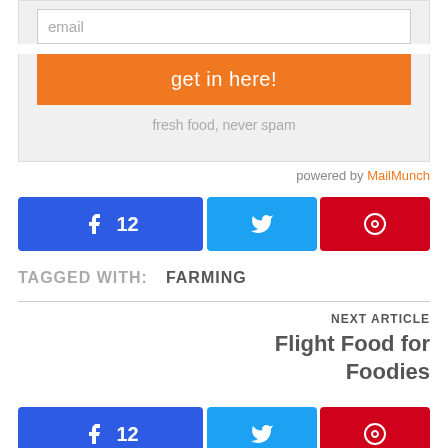email
get in here!
fresh food, never spam
powered by MailMunch
[Figure (other): Social share buttons row: Facebook share button with count 12, Twitter share button, Pinterest share button]
TAGGED WITH:   FARMING
NEXT ARTICLE
Flight Food for Foodies
[Figure (other): Social share buttons row (second): Facebook share button with count 12, Twitter share button, Pinterest share button]